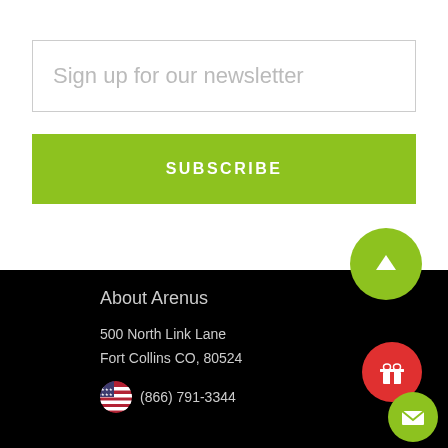Sign up for our newsletter
SUBSCRIBE
About Arenus
500 North Link Lane
Fort Collins CO, 80524
(866) 791-3344